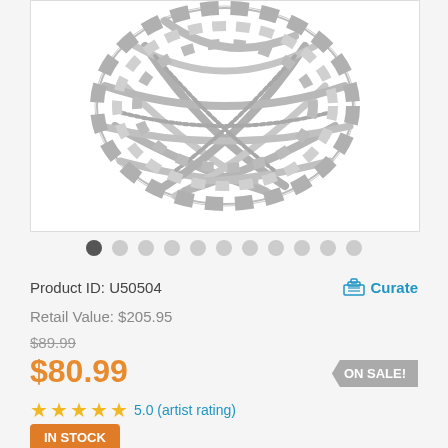[Figure (photo): A braided/woven metallic ring or bracelet in silver/grey tones on a white background.]
Product ID: U50504
Curate
Retail Value: $205.95
$89.99
$80.99
ON SALE!
5.0 (artist rating)
IN STOCK
Delivery Estimate